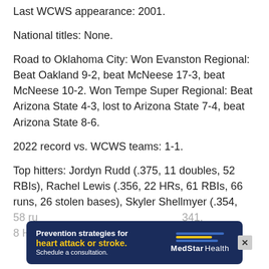Last WCWS appearance: 2001.
National titles: None.
Road to Oklahoma City: Won Evanston Regional: Beat Oakland 9-2, beat McNeese 17-3, beat McNeese 10-2. Won Tempe Super Regional: Beat Arizona State 4-3, lost to Arizona State 7-4, beat Arizona State 8-6.
2022 record vs. WCWS teams: 1-1.
Top hitters: Jordyn Rudd (.375, 11 doubles, 52 RBIs), Rachel Lewis (.356, 22 HRs, 61 RBIs, 66 runs, 26 stolen bases), Skyler Shellmyer (.354, 58 ru... 341, 8 HR... Rs
[Figure (other): MedStar Health advertisement banner: Prevention strategies for heart attack or stroke. Schedule a consultation.]